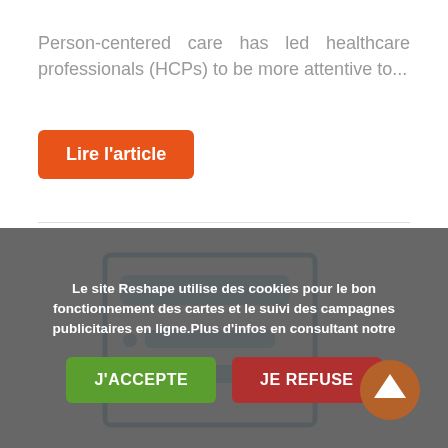Person-centered care has led healthcare professionals (HCPs) to be more attentive to...
Lire l'article
[Figure (illustration): Icon of a clipboard or form with blue horizontal bars and bullet points]
Le site Reshape utilise des cookies pour le bon fonctionnement des cartes et le suivi des campagnes publicitaires en ligne.Plus d'infos en consultant notre
J'ACCEPTE
JE REFUSE